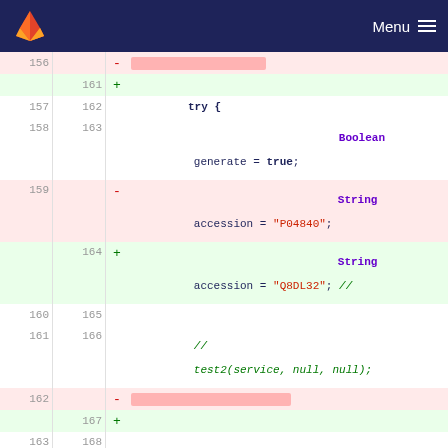GitLab code diff viewer — Menu
[Figure (screenshot): Git diff view showing code changes in a Java/similar file. Lines 156-170 shown. Deletions highlighted in pink, additions in green. Code includes try block, Boolean generate = true, String accession = 'P04840' (deleted) / 'Q8DL32' (added), comment lines, Retriever.runRetriever(true, true, accession), and if(generate).]